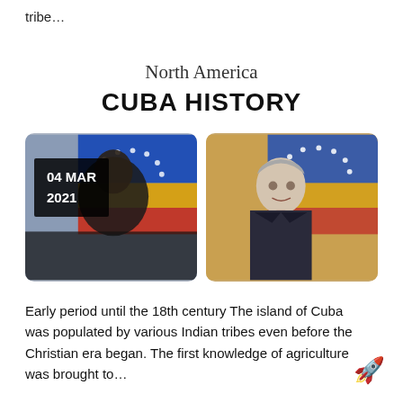tribe…
North America
CUBA HISTORY
[Figure (photo): Two side-by-side photos. Left photo shows a person partially obscured with a black date badge reading '04 MAR 2021' overlaid; Venezuelan flag visible in background. Right photo shows a man with grey hair wearing a Venezuelan-flag-colored sash, also with a Venezuelan flag in background.]
Early period until the 18th century The island of Cuba was populated by various Indian tribes even before the Christian era began. The first knowledge of agriculture was brought to…